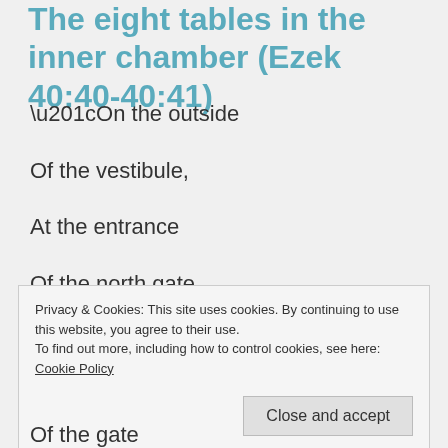The eight tables in the inner chamber (Ezek 40:40-40:41)
“On the outside
Of the vestibule,
At the entrance
Of the north gate,
Privacy & Cookies: This site uses cookies. By continuing to use this website, you agree to their use.
To find out more, including how to control cookies, see here: Cookie Policy
Close and accept
Of the gate